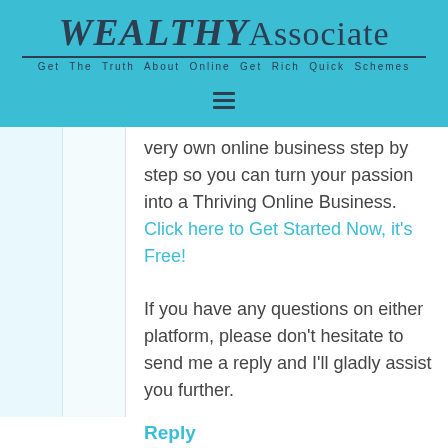WEALTHY Associate — Get The Truth About Online Get Rich Quick Schemes
[Figure (other): Hamburger menu icon (three horizontal lines) navigation bar]
very own online business step by step so you can turn your passion into a Thriving Online Business. Click here to Get Started Now, it's Free!
If you have any questions on either platform, please don't hesitate to send me a reply and I'll gladly assist you further.
Reply